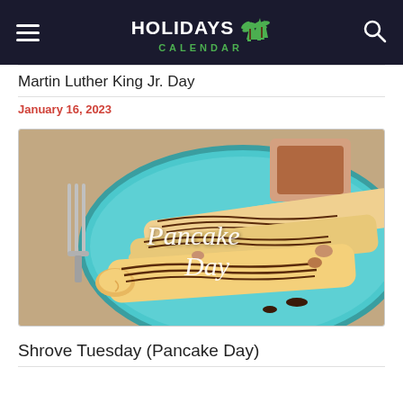Holidays Calendar
Martin Luther King Jr. Day
January 16, 2023
[Figure (photo): Photo of rolled crepes/pancakes with chocolate drizzle on a blue plate, with text overlay reading 'Pancake Day']
Shrove Tuesday (Pancake Day)